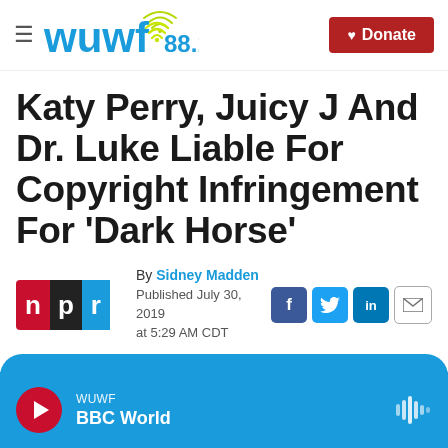WUWF 88.1 | Donate
Katy Perry, Juicy J And Dr. Luke Liable For Copyright Infringement For 'Dark Horse'
By Sidney Madden
Published July 30, 2019 at 5:29 AM CDT
[Figure (logo): NPR logo with red N, black P, blue R]
[Figure (infographic): Social share icons: Facebook, Twitter, LinkedIn, Email]
[Figure (other): WUWF BBC World audio player bar at bottom with play button and waveform icon]